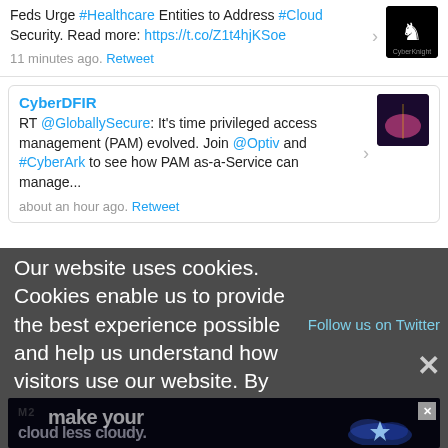Feds Urge #Healthcare Entities to Address #Cloud Security. Read more: https://t.co/Z1t4hjKSoe
11 minutes ago. Retweet
CyberDFIR
RT @GloballySecure: It's time privileged access management (PAM) evolved. Join @Optiv and #CyberArk to see how PAM as-a-Service can manage...
about an hour ago. Retweet
Follow us on Twitter
Our website uses cookies. Cookies enable us to provide the best experience possible and help us understand how visitors use our website. By browsing bankinfosecurity.com, you agree to our use of cookies.
[Figure (screenshot): Advertisement banner with dark background showing 'make your cloud less cloudy' text and a cloud graphic with a star/sparkle.]